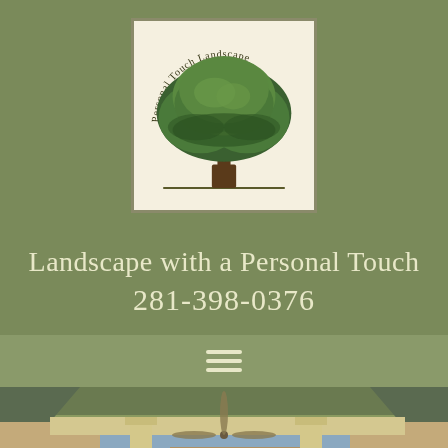[Figure (logo): Personal Touch Landscape logo: arc text 'Personal Touch Landscape' above a large green oak tree illustration on cream background with olive border]
Landscape with a Personal Touch
281-398-0376
[Figure (infographic): Hamburger menu icon (three horizontal lines) on olive-green navigation bar]
[Figure (photo): Exterior photo of a brick house patio with covered pergola, white columns, ceiling fans, patio furniture, white birdbath, flowering plants, and decorative lantern post]